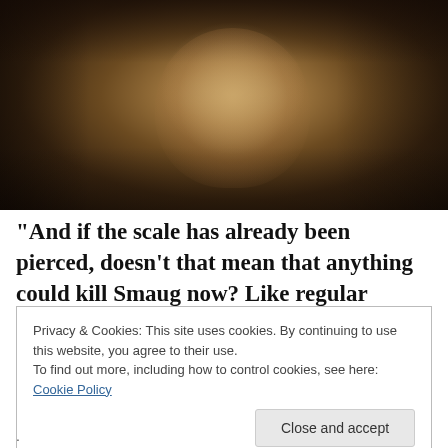[Figure (photo): A man with long dark hair wearing a brown leather jacket, surrounded by hanging artifacts and dark background, looking over his shoulder — scene from The Hobbit film.]
“And if the scale has already been pierced, doesn’t that mean that anything could kill Smaug now? Like regular
Privacy & Cookies: This site uses cookies. By continuing to use this website, you agree to their use.
To find out more, including how to control cookies, see here: Cookie Policy
Close and accept
.